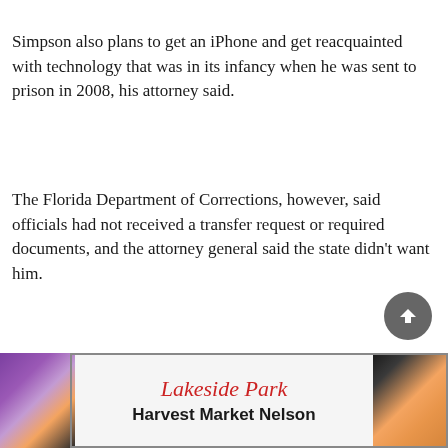Simpson also plans to get an iPhone and get reacquainted with technology that was in its infancy when he was sent to prison in 2008, his attorney said.
The Florida Department of Corrections, however, said officials had not received a transfer request or required documents, and the attorney general said the state didn't want him.
[Figure (other): Advertisement banner for Lakeside Park Harvest Market Nelson with decorative food images on either side]